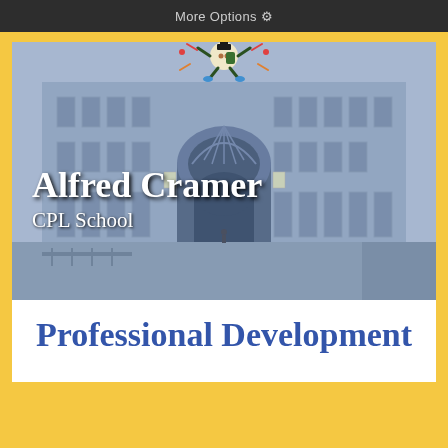More Options ⚙
[Figure (photo): Blue-tinted photo of a classical university building entrance with arched doorway. A cartoon mascot character appears at the top. Text overlay reads 'Alfred Cramer' and 'CPL School'.]
Alfred Cramer
CPL School
Professional Development